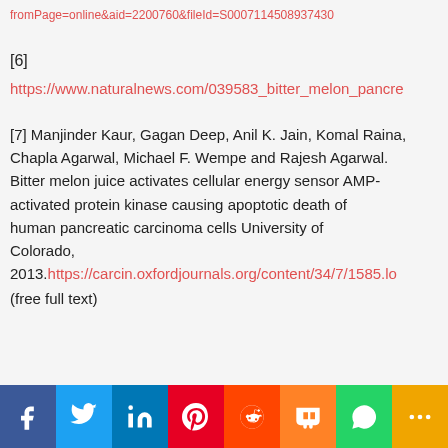fromPage=online&aid=2200760&fileId=S0007114508937430
[6]
https://www.naturalnews.com/039583_bitter_melon_pancre
[7] Manjinder Kaur, Gagan Deep, Anil K. Jain, Komal Raina, Chapla Agarwal, Michael F. Wempe and Rajesh Agarwal. Bitter melon juice activates cellular energy sensor AMP-activated protein kinase causing apoptotic death of human pancreatic carcinoma cells University of Colorado, 2013.https://carcin.oxfordjournals.org/content/34/7/1585.lo (free full text)